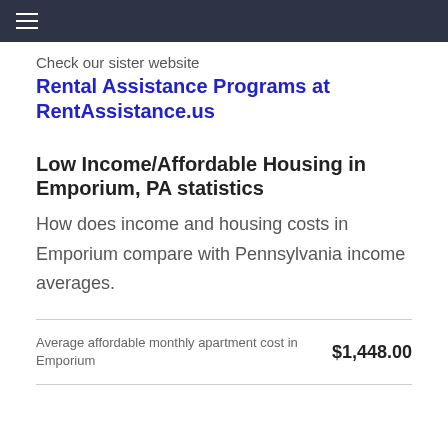≡
Check our sister website
Rental Assistance Programs at RentAssistance.us
Low Income/Affordable Housing in Emporium, PA statistics
How does income and housing costs in Emporium compare with Pennsylvania income averages.
| Description | Value |
| --- | --- |
| Average affordable monthly apartment cost in Emporium | $1,448.00 |